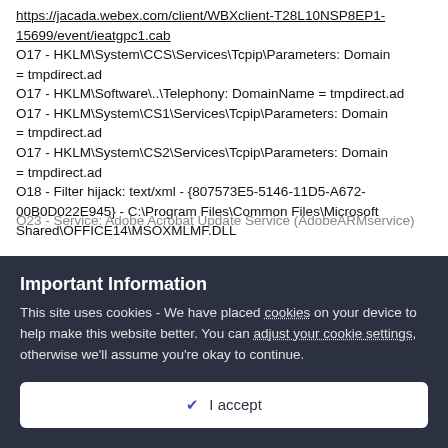https://jacada.webex.com/client/WBXclient-T28L10NSP8EP1-15699/event/ieatgpc1.cab
O17 - HKLM\System\CCS\Services\Tcpip\Parameters: Domain = tmpdirect.ad
O17 - HKLM\Software\..\Telephony: DomainName = tmpdirect.ad
O17 - HKLM\System\CS1\Services\Tcpip\Parameters: Domain = tmpdirect.ad
O17 - HKLM\System\CS2\Services\Tcpip\Parameters: Domain = tmpdirect.ad
O18 - Filter hijack: text/xml - {807573E5-5146-11D5-A672-00B0D022E945} - C:\Program Files\Common Files\Microsoft Shared\OFFICE14\MSOXMLMF.DLL
O23 - Service: Adobe Acrobat Update Service (AdobeARMservice)
Important Information
This site uses cookies - We have placed cookies on your device to help make this website better. You can adjust your cookie settings, otherwise we'll assume you're okay to continue.
I accept